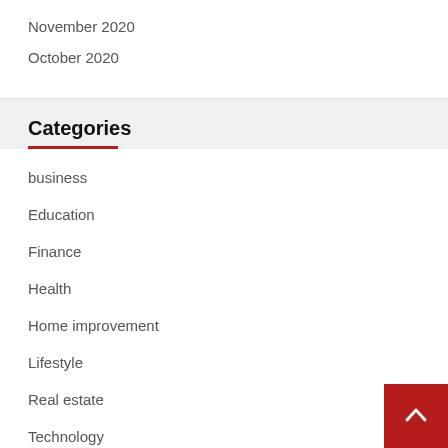November 2020
October 2020
Categories
business
Education
Finance
Health
Home improvement
Lifestyle
Real estate
Technology